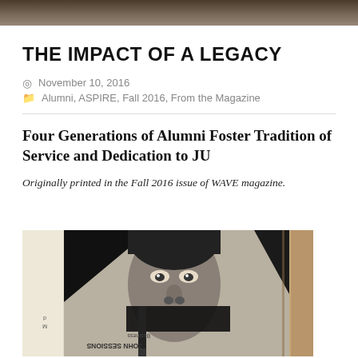THE IMPACT OF A LEGACY
November 10, 2016
Alumni, ASPIRE, Fall 2016, From the Magazine
Four Generations of Alumni Foster Tradition of Service and Dedication to JU
Originally printed in the Fall 2016 issue of WAVE magazine.
[Figure (photo): Black and white photo of an open magazine showing an upside-down portrait of a person in graduation attire. Text visible reads 'JOHN SESSIONS' and 'Business' (mirrored/upside-down).]